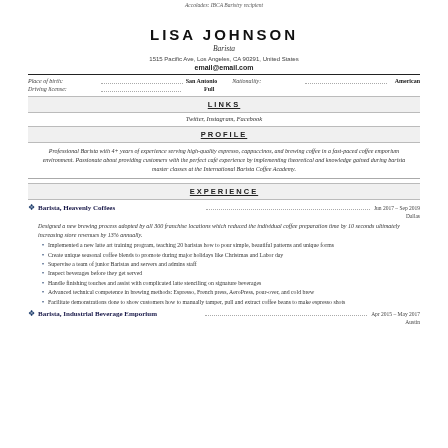Accolades: IBCA Baristry recipient
LISA JOHNSON
Barista
1515 Pacific Ave, Los Angeles, CA 90291, United States
email@email.com
| Place of birth: | San Antonio | Nationality: | American |
| Driving license: | Full |  |  |
LINKS
Twitter, Instagram, Facebook
PROFILE
Professional Barista with 4+ years of experience serving high-quality espresso, cappuccinos, and brewing coffee in a fast-paced coffee emporium environment. Passionate about providing customers with the perfect café experience by implementing theoretical and knowledge gained during barista master classes at the International Barista Coffee Academy.
EXPERIENCE
Barista, Heavenly Coffees   Jun 2017 – Sep 2019   Dallas
Designed a new brewing process adopted by all 300 franchise locations which reduced the individual coffee preparation time by 10 seconds ultimately increasing store revenues by 13% annually.
Implemented a new latte art training program, teaching 20 baristas how to pour simple, beautiful patterns and unique forms
Create unique seasonal coffee blends to promote during major holidays like Christmas and Labor day
Supervise a team of junior Baristas and servers and admins staff
Inspect beverages before they get served
Handle finishing touches and assist with complicated latte stenciling on signature beverages
Advanced technical competence in brewing methods: Espresso, French press, AeroPress, pour-over, and cold brew
Facilitate demonstrations done to show customers how to manually tamper, pull and extract coffee beans to make espresso shots
Barista, Industrial Beverage Emporium   Apr 2015 – May 2017   Austin